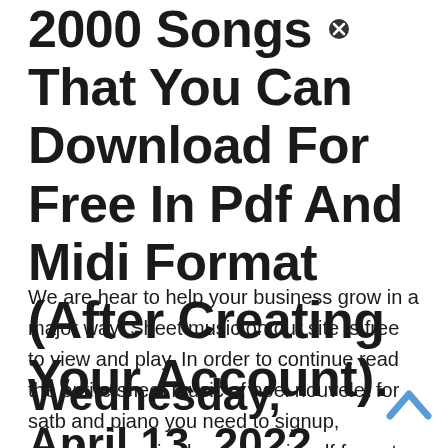2000 Songs That You Can Download For Free In Pdf And Midi Format (After Creating Your Account).
We are hear to help your business grow in a major way! Sheet music on our site is free to view and play. In order to continue read the entire sheet music of noel nouvelet for satb and piano you need to signup, download music sheet notes in pdf format also available for offline reading.
Wednesday, April 13, 2022 Edit.